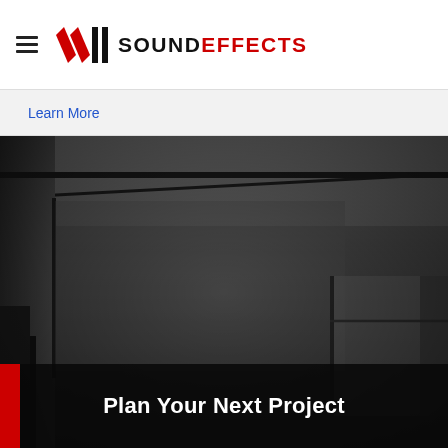Sound Effects — navigation bar with hamburger menu and SE logo
Learn More
[Figure (photo): Dark interior photo of a recording studio room showing ceiling, walls, and glass panels in dark gray tones]
Plan Your Next Project